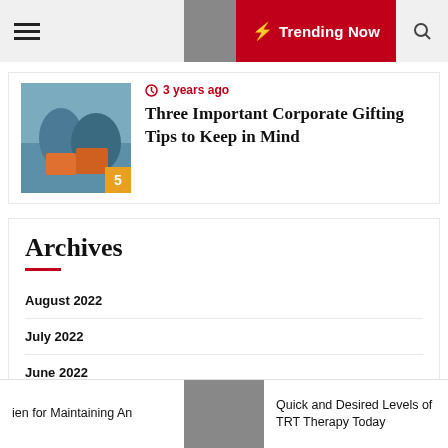Trending Now
3 years ago
Three Important Corporate Gifting Tips to Keep in Mind
Archives
August 2022
July 2022
June 2022
ien for Maintaining An | Quick and Desired Levels of TRT Therapy Today